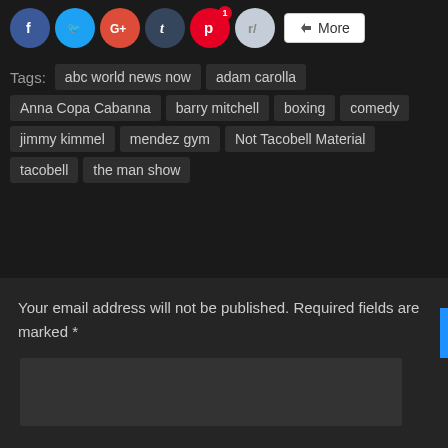[Figure (other): Social share buttons: Facebook, Twitter, Google+, Tumblr, Pinterest (with badge 1), Reddit, and a More button]
Tags: abc world news now  adam carolla  Anna Copa Cabanna  barry mitchell  boxing  comedy  jimmy kimmel  mendez gym  Not Tacobell Material  tacobell  the man show
Your email address will not be published. Required fields are marked *